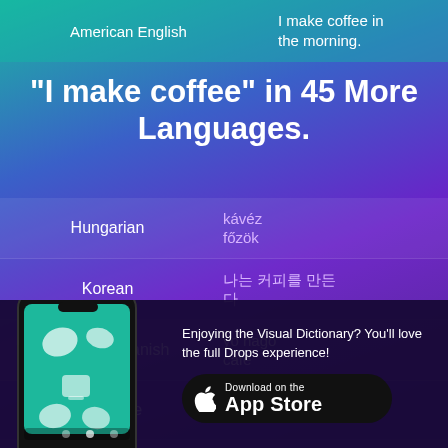American English | I make coffee in the morning.
"I make coffee" in 45 More Languages.
| Language | Translation |
| --- | --- |
| Hungarian | kávéz főzök |
| Korean | 나는 커피를 만든다 |
| Castilian Spanish | yo hago café |
| Japanese | コーヒーを作る |
| French | je fais le |
Enjoying the Visual Dictionary? You'll love the full Drops experience!
[Figure (screenshot): Mobile phone screenshot showing the Drops app interface with coffee-related vocabulary items]
Download on the App Store